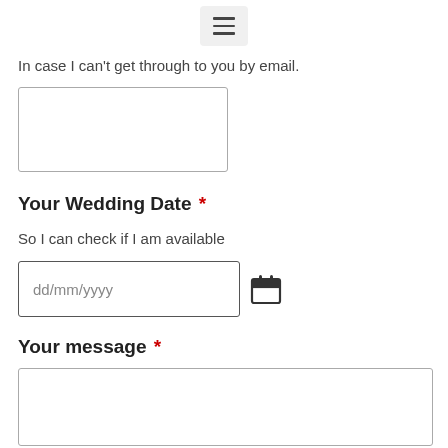[Figure (other): Hamburger menu icon (three horizontal lines) inside a light gray rounded rectangle, centered at top of page]
In case I can't get through to you by email.
[Figure (other): Empty phone number input text box (rectangle with border)]
Your Wedding Date *
So I can check if I am available
[Figure (other): Date input field showing placeholder 'dd/mm/yyyy' with a calendar icon to the right]
Your message *
[Figure (other): Large empty message textarea (rectangle with border)]